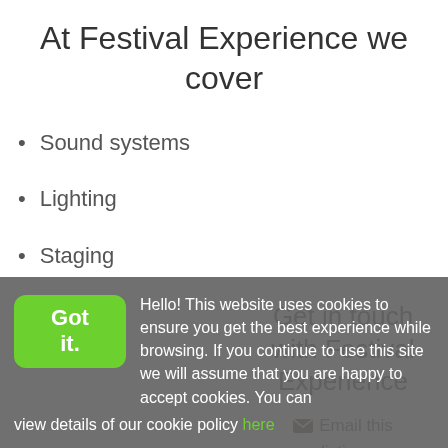At Festival Experience we cover
Sound systems
Lighting
Staging
Power
Get in touch with Festival Experience
Email this listing
Hello! This website uses cookies to ensure you get the best experience while browsing. If you continue to use this site we will assume that you are happy to accept cookies. You can view details of our cookie policy here